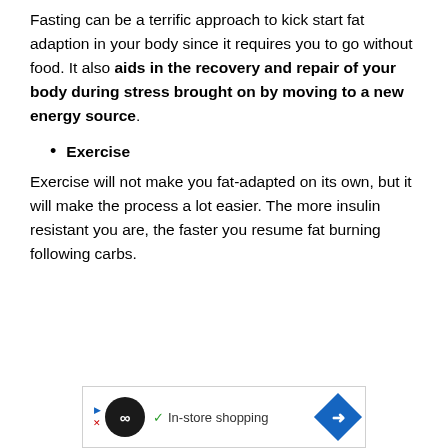Fasting can be a terrific approach to kick start fat adaption in your body since it requires you to go without food. It also aids in the recovery and repair of your body during stress brought on by moving to a new energy source.
Exercise
Exercise will not make you fat-adapted on its own, but it will make the process a lot easier. The more insulin resistant you are, the faster you resume fat burning following carbs.
[Figure (infographic): Advertisement banner showing a black circle with infinity-like logo, a checkmark with 'In-store shopping' text, and a blue diamond arrow icon on the right.]